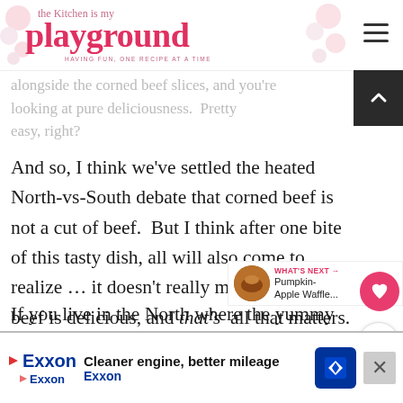the kitchen is my playground — HAVING FUN, ONE RECIPE AT A TIME
alongside the corned beef slices, and you're looking at pure deliciousness. Pretty easy, right?
And so, I think we've settled the heated North-vs-South debate that corned beef is not a cut of beef. But I think after one bite of this tasty dish, all will also come to realize… it doesn't really matter. Corned beef is delicious, and that's all that matters.
If you live in the North where the yummy
WHAT'S NEXT → Pumpkin-Apple Waffle...
Cleaner engine, better mileage — Exxon